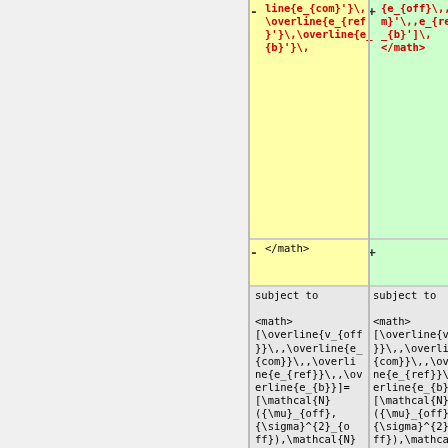[Figure (other): Diff view of LaTeX/MathML code showing two columns: minus (yellow highlight) and plus (green highlight) with red-colored changed tokens and grey unchanged sections. Left panel is grey background. Content shows math markup with \overline, \mathcal{N}, \mu, \sigma terms.]